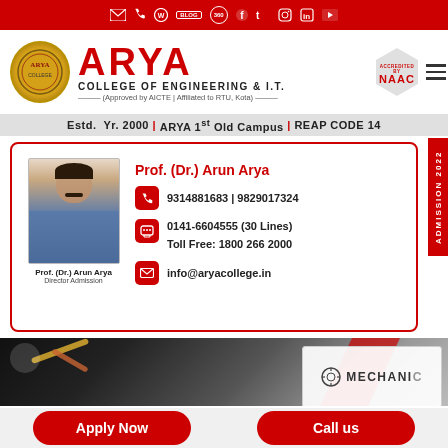[Figure (infographic): Red top navigation bar with social media and contact icons (email, phone, WhatsApp, blog, 360, Facebook, Twitter, Instagram, LinkedIn, YouTube)]
[Figure (logo): Arya College of Engineering & I.T. logo with college crest, NAAC accreditation badge, red ARYA text]
Estd. Yr. 2000 | ARYA 1st Old Campus | REAP CODE 14
[Figure (photo): Portrait photo of Prof. (Dr.) Arun Arya, Director Admission, inside a contact card with phone numbers, fax, toll free, and email]
Prof. (Dr.) Arun Arya
Director Admission
9314881683 | 9829017324
0141-6604555 (30 Lines)
Toll Free: 1800 266 2000
info@aryacollege.in
ADMISSION 2022
[Figure (photo): Mechanical engineering machinery image strip at bottom with robotic arms, and a MECHANICAL department panel partially visible]
Apply Now
Call us